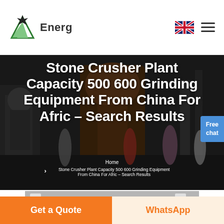[Figure (logo): Energ company logo with green triangular graphic and bold text 'Energ']
Stone Crusher Plant Capacity 500 600 Grinding Equipment From China For Afric - Search Results
Home
> Stone Crusher Plant Capacity 500 600 Grinding Equipment From China For Afric - Search Results
[Figure (photo): Industrial stone crusher machinery in a factory setting with people posing near equipment]
Free chat
[Figure (photo): Partial thumbnail of industrial facility roof]
Get a Quote
WhatsApp